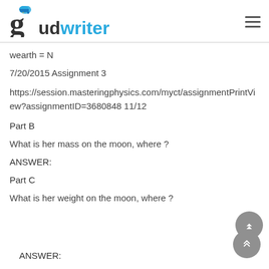gudwriter
wearth = N
7/20/2015 Assignment 3
https://session.masteringphysics.com/myct/assignmentPrintView?assignmentID=3680848 11/12
Part B
What is her mass on the moon, where ?
ANSWER:
Part C
What is her weight on the moon, where ?
ANSWER: